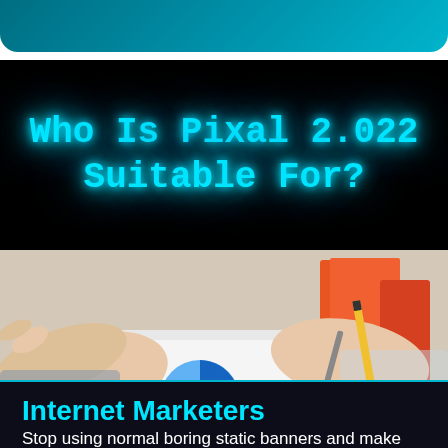[Figure (other): Teal/cyan gradient header banner, partially visible at top of page]
Who Is Pixal 2.022 Suitable For?
[Figure (photo): Photo of two people's hands working at a desk with charts, graphs, a book, and a pen]
Internet Marketers
Stop using normal boring static banners and make sure you stop your audience in